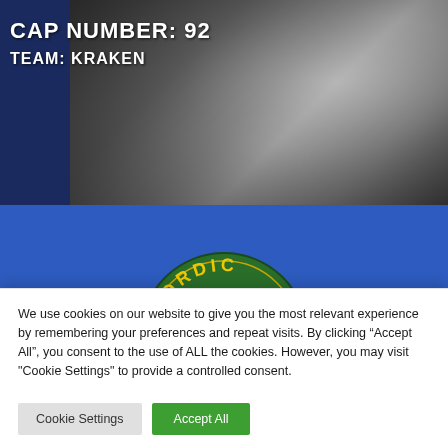CAP NUMBER: 92
TEAM: KRAKEN
[Figure (illustration): Green circular Nordic logo/badge with yellow text 'NORDIC' arched at the top, partially visible against a bright blue background]
We use cookies on our website to give you the most relevant experience by remembering your preferences and repeat visits. By clicking “Accept All”, you consent to the use of ALL the cookies. However, you may visit "Cookie Settings" to provide a controlled consent.
Cookie Settings
Accept All